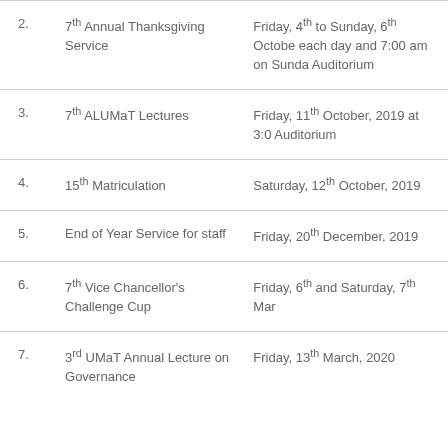| # | Event | Date |
| --- | --- | --- |
| 2. | 7th Annual Thanksgiving Service | Friday, 4th to Sunday, 6th October, each day and 7:00 am on Sunday. Auditorium |
| 3. | 7th ALUMaT Lectures | Friday, 11th October, 2019 at 3:00. Auditorium |
| 4. | 15th Matriculation | Saturday, 12th October, 2019 |
| 5. | End of Year Service for staff | Friday, 20th December, 2019 |
| 6. | 7th Vice Chancellor's Challenge Cup | Friday, 6th and Saturday, 7th March |
| 7. | 3rd UMaT Annual Lecture on Governance | Friday, 13th March, 2020 |